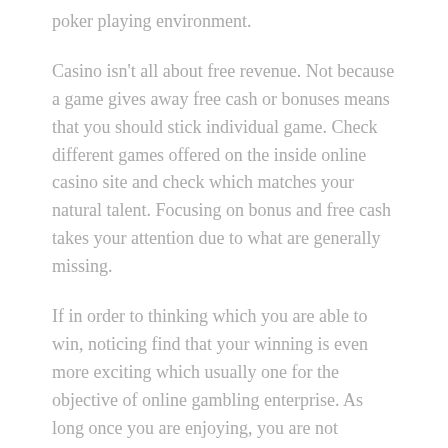poker playing environment.
Casino isn't all about free revenue. Not because a game gives away free cash or bonuses means that you should stick individual game. Check different games offered on the inside online casino site and check which matches your natural talent. Focusing on bonus and free cash takes your attention due to what are generally missing.
If in order to thinking which you are able to win, noticing find that your winning is even more exciting which usually one for the objective of online gambling enterprise. As long once you are enjoying, you are not gambling at a time rent money, it is money well spent.
Filed Under: Uncategorized